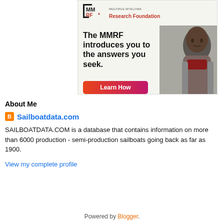[Figure (advertisement): MMRF Multiple Myeloma Research Foundation advertisement with logo, photo of an elderly man, headline text 'The MMRF introduces you to the answers you seek.' and a red 'Learn How' button]
About Me
Sailboatdata.com
SAILBOATDATA.COM is a database that contains information on more than 6000 production - semi-production sailboats going back as far as 1900.
View my complete profile
Powered by Blogger.